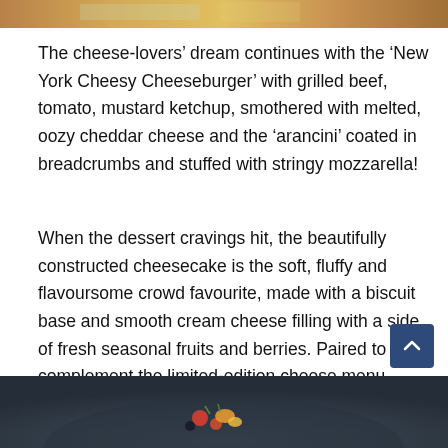[Figure (photo): Top portion of a food photo, likely showing a dish, cropped at the top of the page]
The cheese-lovers’ dream continues with the ‘New York Cheesy Cheeseburger’ with grilled beef, tomato, mustard ketchup, smothered with melted, oozy cheddar cheese and the ‘arancini’ coated in breadcrumbs and stuffed with stringy mozzarella!
When the dessert cravings hit, the beautifully constructed cheesecake is the soft, fluffy and flavoursome crowd favourite, made with a biscuit base and smooth cream cheese filling with a side of fresh seasonal fruits and berries. Paired to complement the limited-edition cheese menu, guests can enjoy flowing Lanson Champagne, wine and rosé.
[Figure (photo): Bottom portion of a food photo showing a dark plate or bowl with colorful food items including what appears to be fruits or berries]